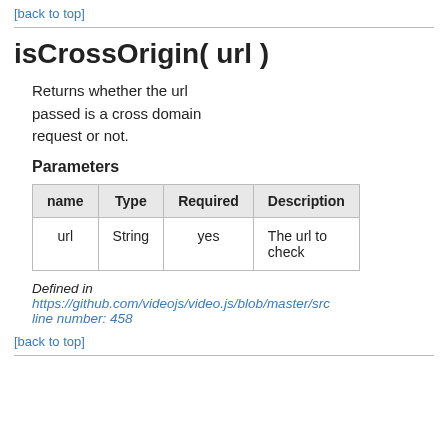[back to top]
isCrossOrigin( url )
Returns whether the url passed is a cross domain request or not.
Parameters
| name | Type | Required | Description |
| --- | --- | --- | --- |
| url | String | yes | The url to check |
Defined in
https://github.com/videojs/video.js/blob/master/src line number: 458
[back to top]